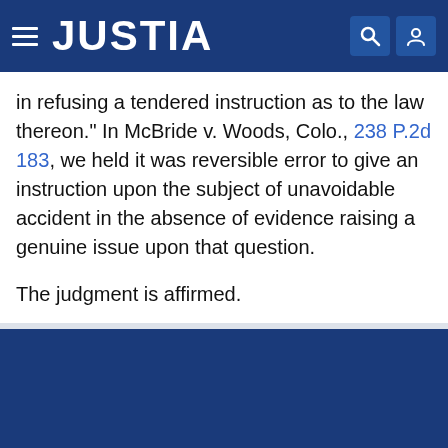JUSTIA
in refusing a tendered instruction as to the law thereon." In McBride v. Woods, Colo., 238 P.2d 183, we held it was reversible error to give an instruction upon the subject of unavoidable accident in the absence of evidence raising a genuine issue upon that question.

The judgment is affirmed.